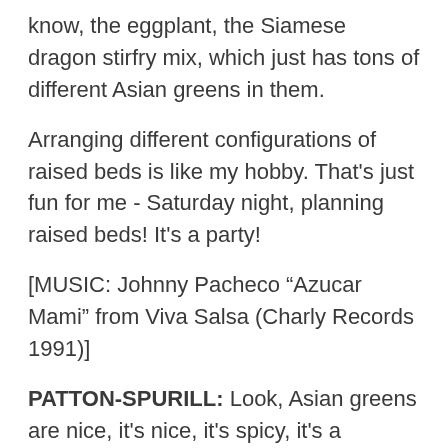know, the eggplant, the Siamese dragon stirfry mix, which just has tons of different Asian greens in them.
Arranging different configurations of raised beds is like my hobby. That's just fun for me - Saturday night, planning raised beds! It's a party!
[MUSIC: Johnny Pacheco “Azucar Mami” from Viva Salsa (Charly Records 1991)]
PATTON-SPURILL: Look, Asian greens are nice, it's nice, it's spicy, it's a different taste… how about some potatoes and some corn and some lettuce. My name is Robert Patton-Spurill and I’m Patricia’s husband. I want a record of potato - I want to do 800 lbs of potato. I’m trying to do 200 lbs of corn.
BASCOMB: Wait a second, how big is this garden that you’re growing this all in?